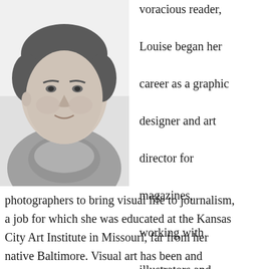[Figure (photo): Black and white portrait photograph of a woman with short dark hair, wearing a turtleneck sweater, facing slightly left]
voracious reader, Louise began her career as a graphic designer and art director for magazines, working with illustrators and photographers to bring visual life to journalism, a job for which she was educated at the Kansas City Art Institute in Missouri, far from her native Baltimore. Visual art has been and